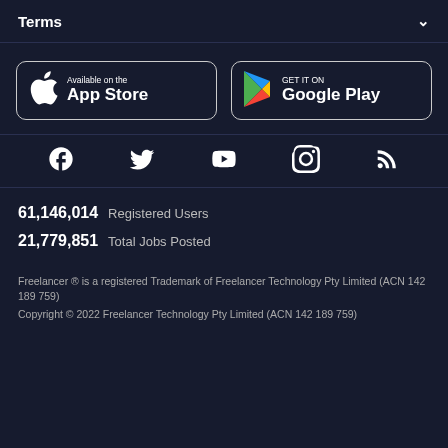Terms
[Figure (other): App Store and Google Play store download buttons side by side]
[Figure (other): Social media icons: Facebook, Twitter, YouTube, Instagram, RSS feed]
61,146,014  Registered Users
21,779,851  Total Jobs Posted
Freelancer ® is a registered Trademark of Freelancer Technology Pty Limited (ACN 142 189 759)
Copyright © 2022 Freelancer Technology Pty Limited (ACN 142 189 759)